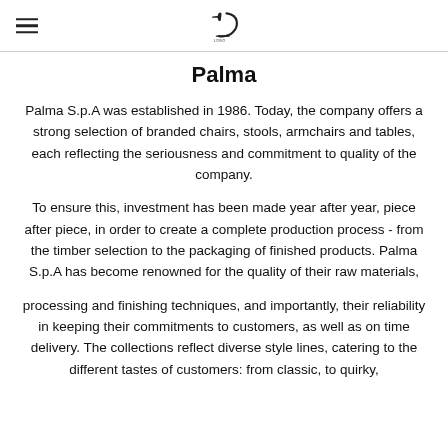[logo] Palma
Palma
Palma S.p.A was established in 1986. Today, the company offers a strong selection of branded chairs, stools, armchairs and tables, each reflecting the seriousness and commitment to quality of the company.
To ensure this, investment has been made year after year, piece after piece, in order to create a complete production process - from the timber selection to the packaging of finished products. Palma S.p.A has become renowned for the quality of their raw materials,
processing and finishing techniques, and importantly, their reliability in keeping their commitments to customers, as well as on time delivery. The collections reflect diverse style lines, catering to the different tastes of customers: from classic, to quirky,